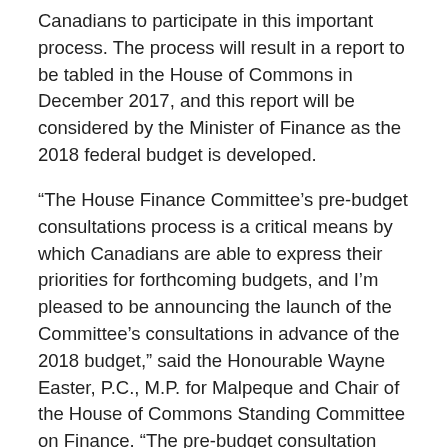Canadians to participate in this important process. The process will result in a report to be tabled in the House of Commons in December 2017, and this report will be considered by the Minister of Finance as the 2018 federal budget is developed.
“The House Finance Committee’s pre-budget consultations process is a critical means by which Canadians are able to express their priorities for forthcoming budgets, and I’m pleased to be announcing the launch of the Committee’s consultations in advance of the 2018 budget,” said the Honourable Wayne Easter, P.C., M.P. for Malpeque and Chair of the House of Commons Standing Committee on Finance. “The pre-budget consultation process is a very important part of the Committee’s work, and Committee members are always impressed by the thoughtful and innovative proposals put forward by Canadians as potential budget measures.”
Consistent with last year’s theme of economic growth, and believing that more productive people and more productive and competitive businesses can lead to enhanced growth